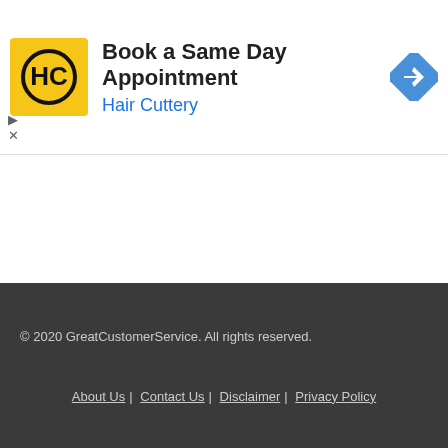[Figure (other): Hair Cuttery advertisement banner with yellow HC logo, text 'Book a Same Day Appointment' and 'Hair Cuttery', and a blue diamond-shaped navigation icon]
© 2020 GreatCustomerService. All rights reserved.
About Us | Contact Us | Disclaimer | Privacy Policy